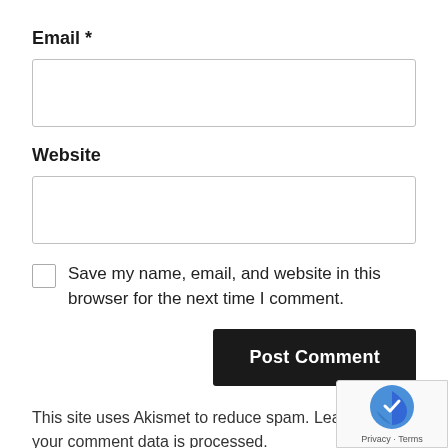Email *
[Figure (other): Empty text input field for Email]
Website
[Figure (other): Empty text input field for Website]
Save my name, email, and website in this browser for the next time I comment.
[Figure (other): Post Comment button — dark background with white bold text]
This site uses Akismet to reduce spam. Learn how your comment data is processed.
[Figure (logo): Google reCAPTCHA badge with logo and Privacy · Terms links]